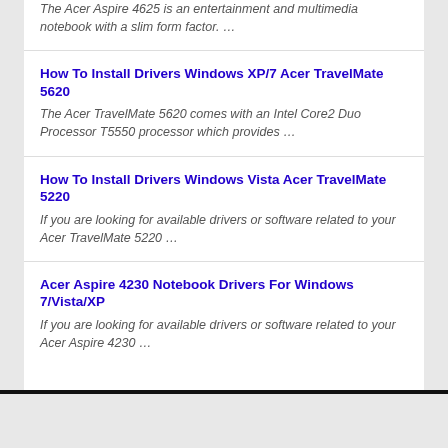The Acer Aspire 4625 is an entertainment and multimedia notebook with a slim form factor. …
How To Install Drivers Windows XP/7 Acer TravelMate 5620
The Acer TravelMate 5620 comes with an Intel Core2 Duo Processor T5550 processor which provides …
How To Install Drivers Windows Vista Acer TravelMate 5220
If you are looking for available drivers or software related to your Acer TravelMate 5220 …
Acer Aspire 4230 Notebook Drivers For Windows 7/Vista/XP
If you are looking for available drivers or software related to your Acer Aspire 4230 …